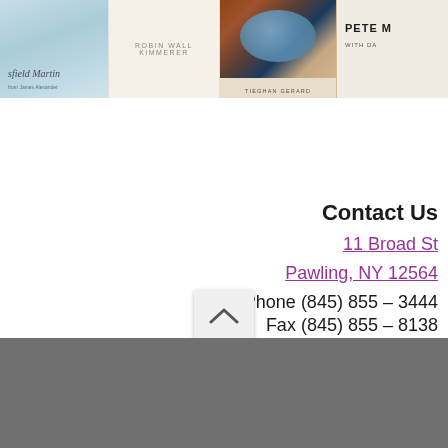[Figure (photo): Book cover with light blue/teal background, author name partially visible reading 'sfield Martin' in italic serif font]
[Figure (photo): Book cover with cream/beige background, author name 'ROBIN WALL KIMMERER' in uppercase letters]
[Figure (photo): Cookbook cover showing a blue bowl with food, author name 'TIEGHAN GERARD' at the bottom]
[Figure (photo): Book cover with author name 'PETE' visible and 'WITH DA' below, light beige background]
Contact Us
11 Broad St
Pawling, NY 12564
Phone (845) 855 – 3444
Fax (845) 855 – 8138